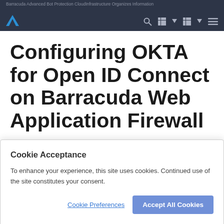Barracuda Advanced Bot Protection CloudInfrastructure Organizes Information
Configuring OKTA for Open ID Connect on Barracuda Web Application Firewall
Last updated on 2020-08-25 04:09:30
Cookie Acceptance
To enhance your experience, this site uses cookies. Continued use of the site constitutes your consent.
Cookie Preferences | Accept All Cookies